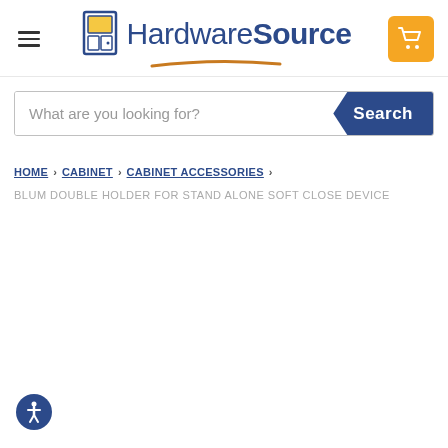HardwareSource — navigation header with hamburger menu, logo, and cart button
What are you looking for?
HOME > CABINET > CABINET ACCESSORIES >
BLUM DOUBLE HOLDER FOR STAND ALONE SOFT CLOSE DEVICE